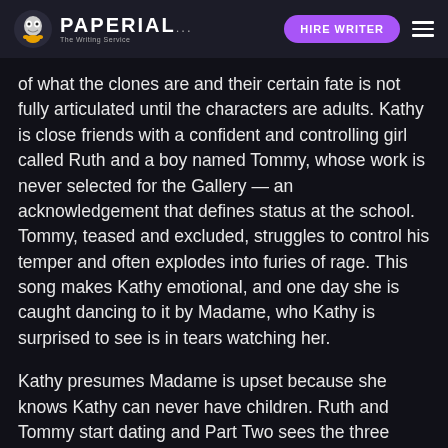PAPERIAL... HIRE WRITER
of what the clones are and their certain fate is not fully articulated until the characters are adults. Kathy is close friends with a confident and controlling girl called Ruth and a boy named Tommy, whose work is never selected for the Gallery — an acknowledgement that defines status at the school. Tommy, teased and excluded, struggles to control his temper and often explodes into furies of rage. This song makes Kathy emotional, and one day she is caught dancing to it by Madame, who Kathy is surprised to see is in tears watching her.
Kathy presumes Madame is upset because she knows Kathy can never have children. Ruth and Tommy start dating and Part Two sees the three friends reach early adulthood and move to a place known as the Cottages, to live with other clones from around the country and experience some freedom before beginning their donations